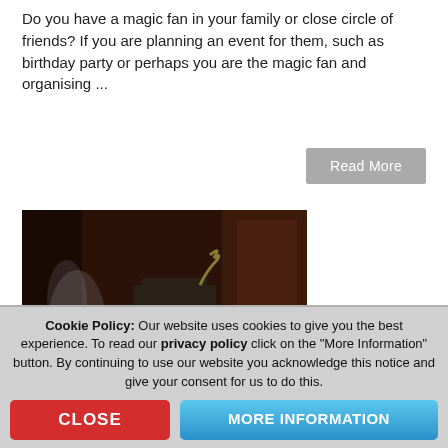Do you have a magic fan in your family or close circle of friends? If you are planning an event for them, such as birthday party or perhaps you are the magic fan and organising ...
Read More
[Figure (photo): A magician with long curly hair wearing a dark top hat and black jacket, holding out one hand with smoke swirling around it, posed against a dark reddish-brown background.]
Cookie Policy: Our website uses cookies to give you the best experience. To read our privacy policy click on the "More Information" button. By continuing to use our website you acknowledge this notice and give your consent for us to do this.
CLOSE
MORE INFORMATION